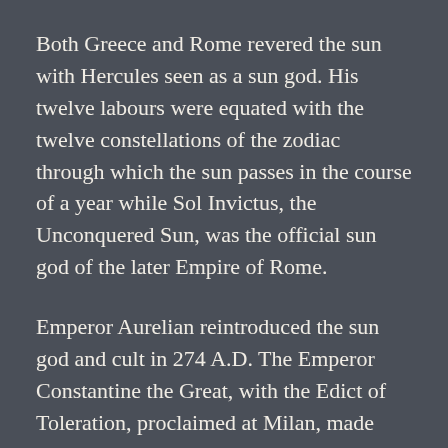Both Greece and Rome revered the sun with Hercules seen as a sun god. His twelve labours were equated with the twelve constellations of the zodiac through which the sun passes in the course of a year while Sol Invictus, the Unconquered Sun, was the official sun god of the later Empire of Rome.
Emperor Aurelian reintroduced the sun god and cult in 274 A.D. The Emperor Constantine the Great, with the Edict of Toleration, proclaimed at Milan, made Christianity legal throughout the Roman Empire in 313 A.D., but continued to have his coins inscribed with the words, “Sol Invicto Comiti”, which means Committed to